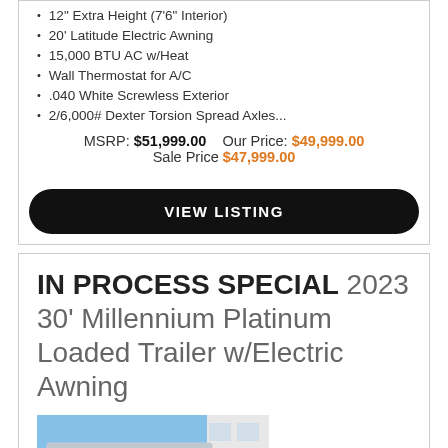12" Extra Height (7'6" Interior)
20' Latitude Electric Awning
15,000 BTU AC w/Heat
Wall Thermostat for A/C
.040 White Screwless Exterior
2/6,000# Dexter Torsion Spread Axles...
MSRP: $51,999.00   Our Price: $49,999.00
Sale Price $47,999.00
VIEW LISTING
IN PROCESS SPECIAL 2023 30' Millennium Platinum Loaded Trailer w/Electric Awning
[Figure (photo): Photo of a white trailer/cargo trailer exterior against a blue sky background]